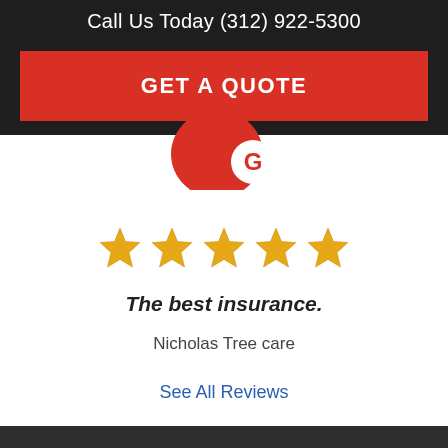Call Us Today (312) 922-5300
GET A QUOTE
[Figure (logo): Google G logo icon — red circle background with white G symbol]
[Figure (infographic): Five gold star rating icons]
The best insurance.
Nicholas Tree care
See All Reviews